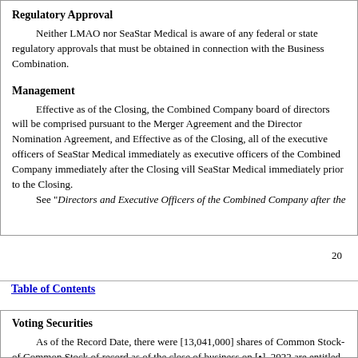Regulatory Approval
Neither LMAO nor SeaStar Medical is aware of any federal or state regulatory approvals that must be obtained in connection with the Business Combination.
Management
Effective as of the Closing, the Combined Company board of directors will be comprised pursuant to the Merger Agreement and the Director Nomination Agreement, and will consist of [●]. Effective as of the Closing, all of the executive officers of SeaStar Medical immediately prior to Closing as executive officers of the Combined Company immediately after the Closing will be the officers of SeaStar Medical immediately prior to the Closing.
See “Directors and Executive Officers of the Combined Company after the
20
Table of Contents
Voting Securities
As of the Record Date, there were [13,041,000] shares of Common Stock outstanding. Holders of Common Stock of record as of the close of business on [•], 2022 are entitled to vote on the Business Combination Proposal, the Governance Proposals, the Stock Plan Proposal and the Director Proposal will each require the affirmative vote of the holders of a majority of the